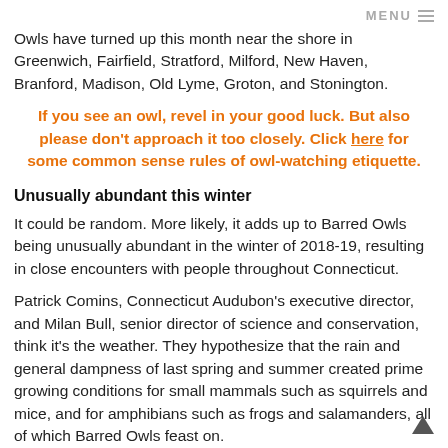MENU ≡
Owls have turned up this month near the shore in Greenwich, Fairfield, Stratford, Milford, New Haven, Branford, Madison, Old Lyme, Groton, and Stonington.
If you see an owl, revel in your good luck. But also please don't approach it too closely. Click here for some common sense rules of owl-watching etiquette.
Unusually abundant this winter
It could be random. More likely, it adds up to Barred Owls being unusually abundant in the winter of 2018-19, resulting in close encounters with people throughout Connecticut.
Patrick Comins, Connecticut Audubon's executive director, and Milan Bull, senior director of science and conservation, think it's the weather. They hypothesize that the rain and general dampness of last spring and summer created prime growing conditions for small mammals such as squirrels and mice, and for amphibians such as frogs and salamanders, all of which Barred Owls feast on.